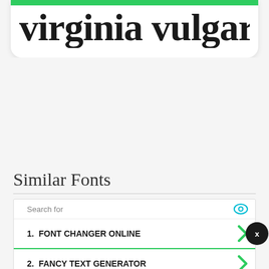[Figure (screenshot): Font sample showing partial text 'virginia vulgaris v' in large serif bold font with green top bar, displayed on a white card]
Similar Fonts
[Figure (screenshot): Advertisement overlay with search for label, eye icon, two items: 1. FONT CHANGER ONLINE and 2. FANCY TEXT GENERATOR with green chevrons, and an X close button]
GFS El
Added b